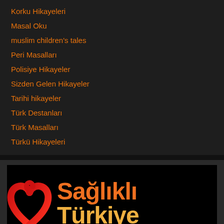Korku Hikayeleri
Masal Oku
muslim children's tales
Peri Masalları
Polisiye Hikayeler
Sizden Gelen Hikayeler
Tarihi hikayeler
Türk Destanları
Türk Masalları
Türkü Hikayeleri
[Figure (logo): Sağlıklı Türkiye logo — orange bold text with a red heart/ribbon icon on a black background with an orange underline]